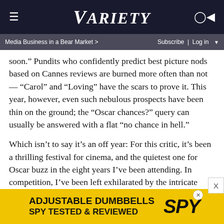VARIETY
Media Business in a Bear Market > | Subscribe | Log in
soon.” Pundits who confidently predict best picture nods based on Cannes reviews are burned more often than not — “Carol” and “Loving” have the scars to prove it. This year, however, even such nebulous prospects have been thin on the ground; the “Oscar chances?” query can usually be answered with a flat “no chance in hell.”
Which isn’t to say it’s an off year: For this critic, it’s been a thrilling festival for cinema, and the quietest one for Oscar buzz in the eight years I’ve been attending. In competition, I’ve been left exhilarated by the intricate procedural snapshot of French AIDS activism in Robin Campillo’s “BPM (Beats Per Minute),” the puckish, careering male-crisis comedy of Ruben Östlund’s “The Square,” the savage
[Figure (screenshot): Advertisement banner for Adjustable Dumbbells - SPY Tested & Reviewed on yellow background]